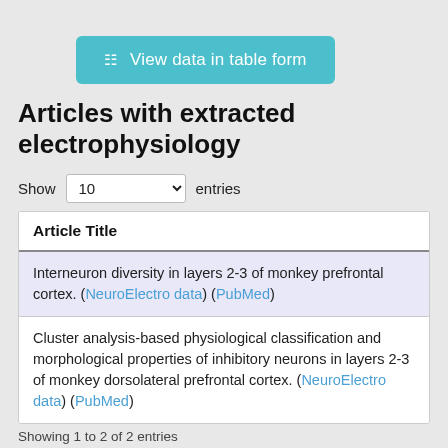[Figure (screenshot): Teal button labeled 'View data in table form' with a grid icon]
Articles with extracted electrophysiology
Show 10 entries
| Article Title |
| --- |
| Interneuron diversity in layers 2-3 of monkey prefrontal cortex. (NeuroElectro data) (PubMed) |
| Cluster analysis-based physiological classification and morphological properties of inhibitory neurons in layers 2-3 of monkey dorsolateral prefrontal cortex. (NeuroElectro data) (PubMed) |
Showing 1 to 2 of 2 entries
Expert curators for Neocortex bouquet doubl